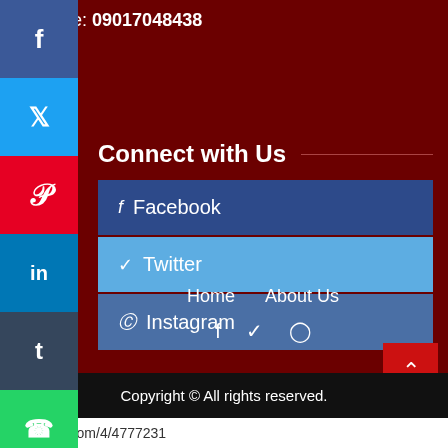Phone: 09017048438
Connect with Us
Facebook
Twitter
Instagram
Home   About Us
Copyright © All rights reserved.
//whairtoa.com/4/4777231